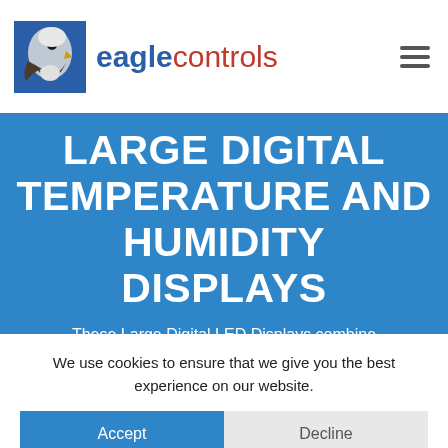eagle controls
LARGE DIGITAL TEMPERATURE AND HUMIDITY DISPLAYS
These Large Digital LED Displays combine
We use cookies to ensure that we give you the best experience on our website.
Accept
Decline